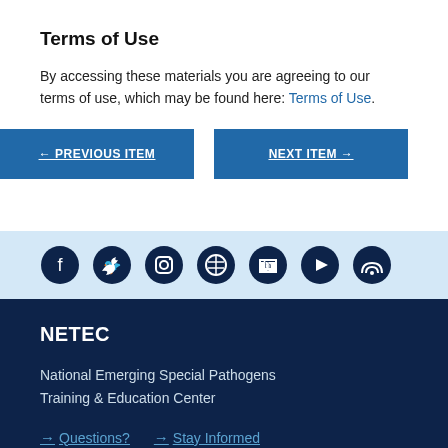Terms of Use
By accessing these materials you are agreeing to our terms of use, which may be found here: Terms of Use.
← PREVIOUS ITEM   NEXT ITEM →
[Figure (infographic): Social media icons row: Facebook, Twitter, Instagram, Spotify, LinkedIn, YouTube, RSS on light blue background]
NETEC
National Emerging Special Pathogens Training & Education Center
→ Questions?  → Stay Informed